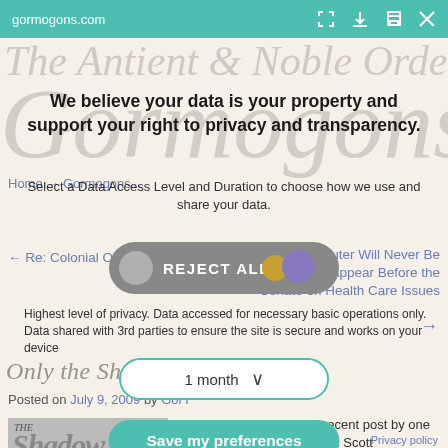gormogons.com
We believe your data is your property and support your right to privacy and transparency.
Select a Data Access Level and Duration to choose how we use and share your data.
Home → Gormogons...
← Re: Colonial One?
Why 'Puter Will Never Be Subpoenaed To Appear Before the Senate on Health Care Issues →
REJECT ALL
1 month
Only the Shadow Knows...
Highest level of privacy. Data accessed for necessary basic operations only. Data shared with 3rd parties to ensure the site is secure and works on your device
Posted on July 9, 2009 by GorT
Save my preferences
The Volgi pointed me at a recent post by one of my favorite authors, Orson Scott
Privacy policy